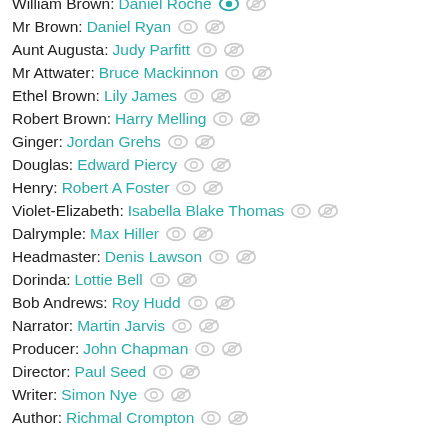William Brown: Daniel Roche
Mr Brown: Daniel Ryan
Aunt Augusta: Judy Parfitt
Mr Attwater: Bruce Mackinnon
Ethel Brown: Lily James
Robert Brown: Harry Melling
Ginger: Jordan Grehs
Douglas: Edward Piercy
Henry: Robert A Foster
Violet-Elizabeth: Isabella Blake Thomas
Dalrymple: Max Hiller
Headmaster: Denis Lawson
Dorinda: Lottie Bell
Bob Andrews: Roy Hudd
Narrator: Martin Jarvis
Producer: John Chapman
Director: Paul Seed
Writer: Simon Nye
Author: Richmal Crompton